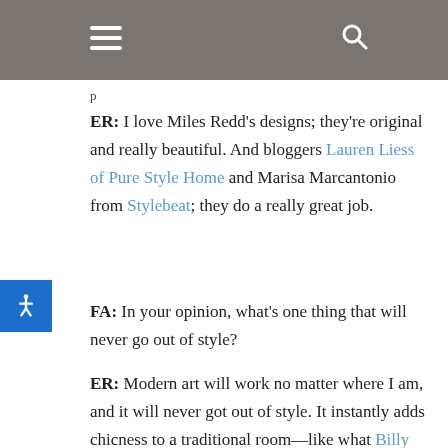[navigation bar with menu and search icons]
ER: I love Miles Redd's designs; they're original and really beautiful. And bloggers Lauren Liess of Pure Style Home and Marisa Marcantonio from Stylebeat; they do a really great job.
FA: In your opinion, what's one thing that will never go out of style?
ER: Modern art will work no matter where I am, and it will never got out of style. It instantly adds chicness to a traditional room—like what Billy Baldwin used to do.